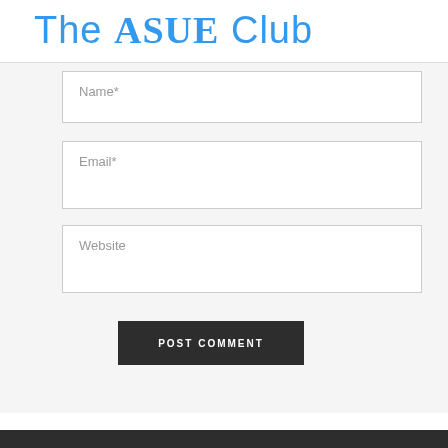The ASUE Club
[Figure (screenshot): Web form with Name, Email, and Website input fields and a POST COMMENT button on a light gray background]